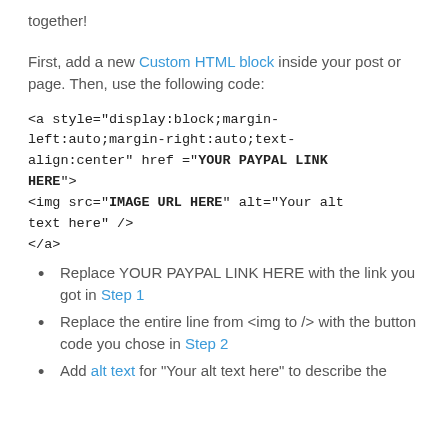together!
First, add a new Custom HTML block inside your post or page. Then, use the following code:
<a style="display:block;margin-left:auto;margin-right:auto;text-align:center" href ="YOUR PAYPAL LINK HERE">
<img src="IMAGE URL HERE" alt="Your alt text here" />
</a>
Replace YOUR PAYPAL LINK HERE with the link you got in Step 1
Replace the entire line from <img to /> with the button code you chose in Step 2
Add alt text for "Your alt text here" to describe the